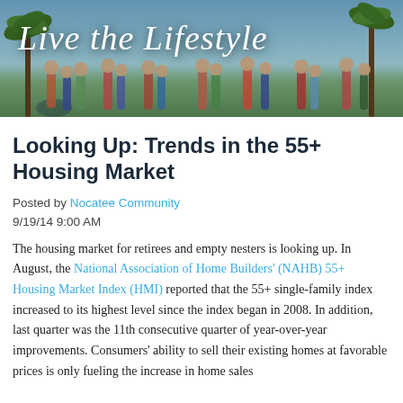[Figure (photo): Banner photo showing a community outdoor event with people socializing and playing, with palm trees in background. Cursive script overlay reads 'Live the Lifestyle'.]
Looking Up: Trends in the 55+ Housing Market
Posted by Nocatee Community
9/19/14 9:00 AM
The housing market for retirees and empty nesters is looking up. In August, the National Association of Home Builders' (NAHB) 55+ Housing Market Index (HMI) reported that the 55+ single-family index increased to its highest level since the index began in 2008. In addition, last quarter was the 11th consecutive quarter of year-over-year improvements. Consumers' ability to sell their existing homes at favorable prices is only fueling the increase in home sales